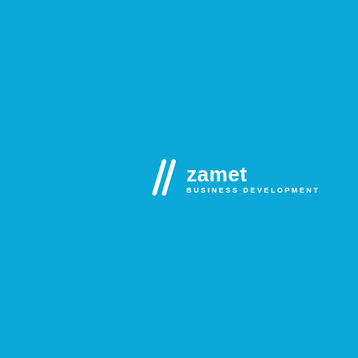[Figure (logo): Zamet Business Development logo in white on a bright blue background. The logo consists of two diagonal parallel slash marks on the left, followed by the word 'zamet' in bold sans-serif text and 'BUSINESS DEVELOPMENT' in smaller uppercase spaced letters below.]